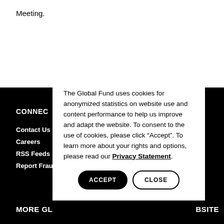Meeting.
CONNECT
Contact Us
Careers
RSS Feeds
Report Frau
The Global Fund uses cookies for anonymized statistics on website use and content performance to help us improve and adapt the website. To consent to the use of cookies, please click “Accept”. To learn more about your rights and options, please read our Privacy Statement.
MORE GL
BSITE